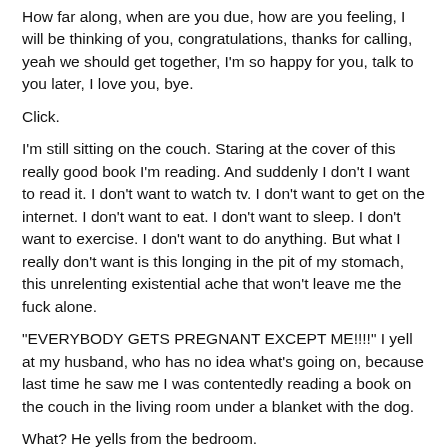How far along, when are you due, how are you feeling, I will be thinking of you, congratulations, thanks for calling, yeah we should get together, I'm so happy for you, talk to you later, I love you, bye.
Click.
I'm still sitting on the couch. Staring at the cover of this really good book I'm reading. And suddenly I don't I want to read it. I don't want to watch tv. I don't want to get on the internet. I don't want to eat. I don't want to sleep. I don't want to exercise. I don't want to do anything. But what I really don't want is this longing in the pit of my stomach, this unrelenting existential ache that won't leave me the fuck alone.
"EVERYBODY GETS PREGNANT EXCEPT ME!!!!" I yell at my husband, who has no idea what's going on, because last time he saw me I was contentedly reading a book on the couch in the living room under a blanket with the dog.
What? He yells from the bedroom.
So I got up and go in there and say, "[My friend's name] is